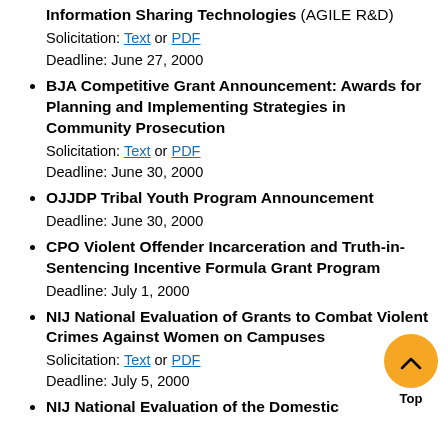Information Sharing Technologies (AGILE R&D)
Solicitation: Text or PDF
Deadline: June 27, 2000
BJA Competitive Grant Announcement: Awards for Planning and Implementing Strategies in Community Prosecution
Solicitation: Text or PDF
Deadline: June 30, 2000
OJJDP Tribal Youth Program Announcement
Deadline: June 30, 2000
CPO Violent Offender Incarceration and Truth-in-Sentencing Incentive Formula Grant Program
Deadline: July 1, 2000
NIJ National Evaluation of Grants to Combat Violent Crimes Against Women on Campuses
Solicitation: Text or PDF
Deadline: July 5, 2000
NIJ National Evaluation of the Domestic